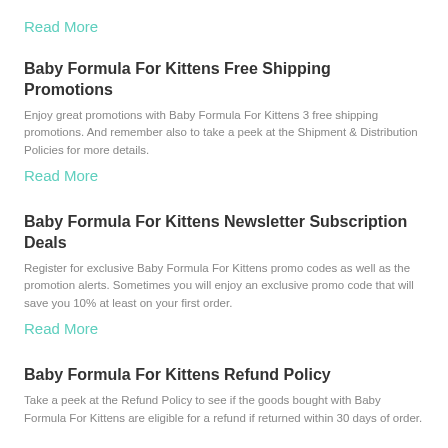Read More
Baby Formula For Kittens Free Shipping Promotions
Enjoy great promotions with Baby Formula For Kittens 3 free shipping promotions. And remember also to take a peek at the Shipment & Distribution Policies for more details.
Read More
Baby Formula For Kittens Newsletter Subscription Deals
Register for exclusive Baby Formula For Kittens promo codes as well as the promotion alerts. Sometimes you will enjoy an exclusive promo code that will save you 10% at least on your first order.
Read More
Baby Formula For Kittens Refund Policy
Take a peek at the Refund Policy to see if the goods bought with Baby Formula For Kittens are eligible for a refund if returned within 30 days of order.